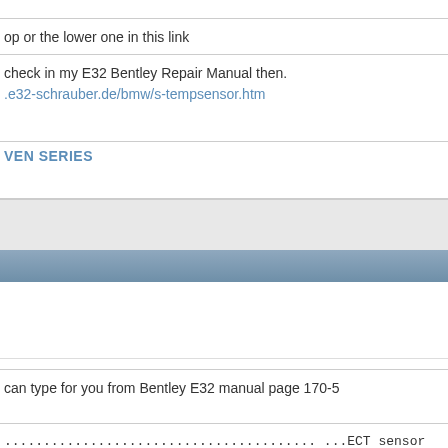op or the lower one in this link
check in my E32 Bentley Repair Manual then.
.e32-schrauber.de/bmw/s-tempsensor.htm
VEN SERIES
Reply With Quote
#3
| Field | Value |
| --- | --- |
| Join Date: | May 2004 |
| Location: | Japan |
| Posts: | 9,201 |
can type for you from Bentley E32 manual page 170-5
........................................ ...ECT sensor
emperature sensor
wn/yellow..................................brown/red-